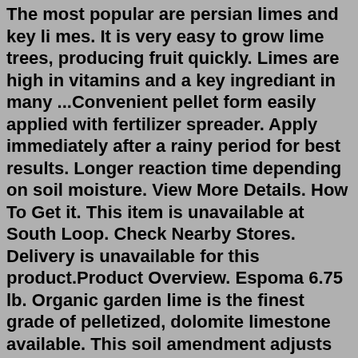The most popular are persian limes and key li mes. It is very easy to grow lime trees, producing fruit quickly. Limes are high in vitamins and a key ingrediant in many ...Convenient pellet form easily applied with fertilizer spreader. Apply immediately after a rainy period for best results. Longer reaction time depending on soil moisture. View More Details. How To Get it. This item is unavailable at South Loop. Check Nearby Stores. Delivery is unavailable for this product.Product Overview. Espoma 6.75 lb. Organic garden lime is the finest grade of pelletized, dolomite limestone available. This soil amendment adjusts soil ph so that your plants are able to benefit as much as possible from the nutrients present. These garden lime granules are fast-acting yet maintain a slow release, making your lawn care simple.The hardiness zones are 8-11. The Bearss Lime is the most popular lime that we sell. Our Bearss Lime trees are as Dwarf, Semi-Dwarf and Standard forms in 5 gallon, 7 gallon, 15 gallon, and 24″ box sizes. These trees are grafted and already fruiting. Limes are ever-